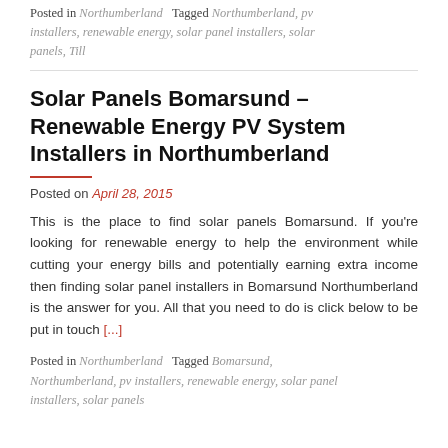Posted in Northumberland   Tagged Northumberland, pv installers, renewable energy, solar panel installers, solar panels, Till
Solar Panels Bomarsund – Renewable Energy PV System Installers in Northumberland
Posted on April 28, 2015
This is the place to find solar panels Bomarsund. If you're looking for renewable energy to help the environment while cutting your energy bills and potentially earning extra income then finding solar panel installers in Bomarsund Northumberland is the answer for you. All that you need to do is click below to be put in touch [...]
Posted in Northumberland   Tagged Bomarsund, Northumberland, pv installers, renewable energy, solar panel installers, solar panels